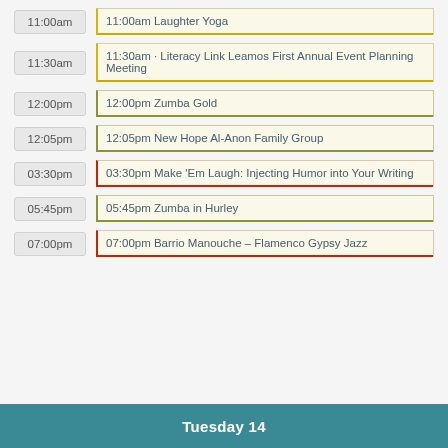11:00am | 11:00am Laughter Yoga
11:30am | 11:30am · Literacy Link Leamos First Annual Event Planning Meeting
12:00pm | 12:00pm Zumba Gold
12:05pm | 12:05pm New Hope Al-Anon Family Group
03:30pm | 03:30pm Make 'Em Laugh: Injecting Humor into Your Writing
05:45pm | 05:45pm Zumba in Hurley
07:00pm | 07:00pm Barrio Manouche – Flamenco Gypsy Jazz
Tuesday 14